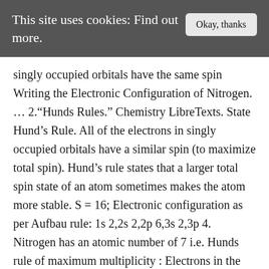This site uses cookies: Find out more.
singly occupied orbitals have the same spin Writing the Electronic Configuration of Nitrogen. … 2.“Hunds Rules.” Chemistry LibreTexts. State Hund’s Rule. All of the electrons in singly occupied orbitals have a similar spin (to maximize total spin). Hund’s rule states that a larger total spin state of an atom sometimes makes the atom more stable. S = 16; Electronic configuration as per Aufbau rule: 1s 2,2s 2,2p 6,3s 2,3p 4. Nitrogen has an atomic number of 7 i.e. Hunds rule of maximum multiplicity : Electrons in the orbitals of given subshell are filled such